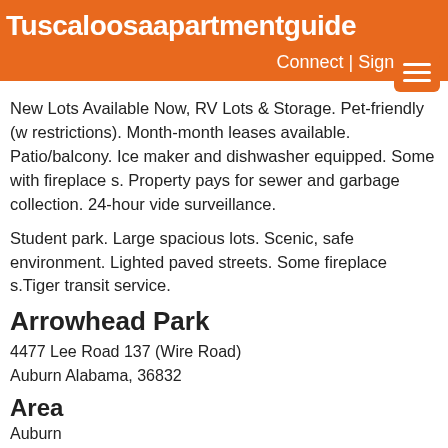Tuscaloosaapartmentguide
Connect | Sign Up |
New Lots Available Now, RV Lots & Storage. Pet-friendly (w restrictions). Month-month leases available. Patio/balcony. Ice maker and dishwasher equipped. Some with fireplace s. Property pays for sewer and garbage collection. 24-hour vide surveillance.
Student park. Large spacious lots. Scenic, safe environment. Lighted paved streets. Some fireplace s.Tiger transit service.
Arrowhead Park
4477 Lee Road 137 (Wire Road)
Auburn Alabama, 36832
Area
Auburn
County
Lee
334 703 6963